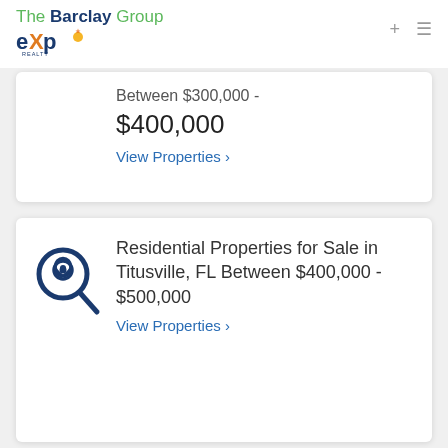The Barclay Group eXp Realty
Between $300,000 - $400,000
View Properties
Residential Properties for Sale in Titusville, FL Between $400,000 - $500,000
View Properties